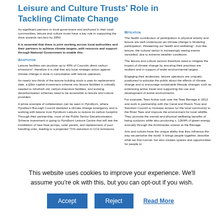Leisure and Culture Trusts' Role in Tackling Climate Change
As significant partners to local government and anchored in their local communities, leisure and culture trusts have a key role in supporting the drive towards net-zero by 2050.
It is essential that there is joint working across local authorities and their partners to achieve climate targets, with resource and support through National Government to enable this.
Adaptation
Leisure facilities can produce up to 40% of Councils direct carbon emissions², therefore it is vital that any local strategic action against climate change is done in consultation with leisure operators.
As nearly two thirds of the leisure building stock is past its replacement date, a £3bn capital investment scheme into leisure facilities is critically needed to refurbish old, carbon-intensive facilities, and existing decarbonisation schemes need to be accessible to leisure and culture providers.
A prime example of collaboration can be seen in Hyndburn, where Hyndburn Borough Council declared a climate change emergency and is working with leisure trust Hyndburn Leisure to reduce its carbon footprint. Through their partnership, most of the Public Sector Decarbonisation Scheme investment is going to Hyndburn Leisure Centre that will see the installation of new heat pumps, solar panels, and replacement of pool handling units, leading to a projected 71% reduction in CO2 emissions.
Mitigation
The health contribution of participation in physical activity and leisure are well-understood yet climate change is hindering participation, threatening our health and wellbeing². Just like leisure, the cultural sector is increasingly seeing events cancelled, due to extreme weather conditions.
The leisure and culture sectors therefore need to mitigate the impact of climate change by ensuring their practices are resilient and in support of wider environmental targets.
Engaging their audiences, leisure operators are uniquely positioned to educate the public about the effects of climate change and to encourage sustainable lifestyle changes such as embracing active travel and supporting the use and development of active environments.
For example, Tees Active took over the Tees Barrage in 2012 and work in partnership with the Canal and Rivers Trust and Stockton Council to increase access for the local community to the River Tees and improve the environment for local wildlife. They promote the mental and physical wellbeing benefits of being outdoors while also producing c. 12kWh of green energy annually through the Archimedes screws at the Barrage.
Arts and culture have the unique ability that they influence the way we perceive the world. It brings people together, describe what we find normal, but also creates spaces and opportunities for people to
This website uses cookies to improve your experience. We'll assume you're ok with this, but you can opt-out if you wish.